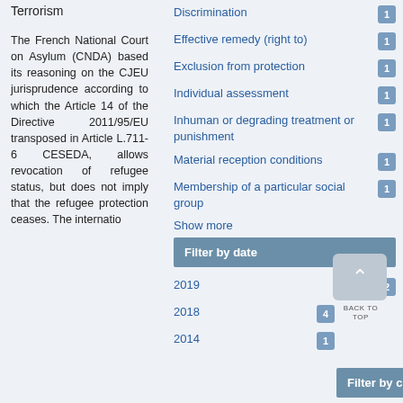Terrorism
The French National Court on Asylum (CNDA) based its reasoning on the CJEU jurisprudence according to which the Article 14 of the Directive 2011/95/EU transposed in Article L.711-6 CESEDA, allows revocation of refugee status, but does not imply that the refugee protection ceases. The international…
Discrimination 1
Effective remedy (right to) 1
Exclusion from protection 1
Individual assessment 1
Inhuman or degrading treatment or punishment 1
Material reception conditions 1
Membership of a particular social group 1
Show more
Filter by date
2019 2
2018 4
2014 1
Filter by country of applicant